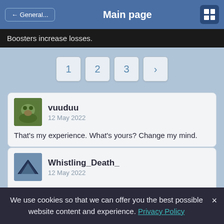← General...   Main page
Boosters increase losses.
1  2  3  ›
vuuduu
12 May 2022

That's my experience. What's yours? Change my mind.
Whistling_Death_
12 May 2022

A Wargaming Community Contributor tested that suspicion and found it to be false.  I have too.
We use cookies so that we can offer you the best possible website content and experience. Privacy Policy